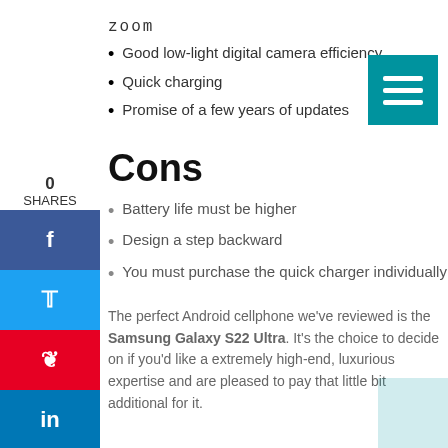zoom
Good low-light digital camera efficiency
Quick charging
Promise of a few years of updates
Cons
Battery life must be higher
Design a step backward
You must purchase the quick charger individually
The perfect Android cellphone we've reviewed is the Samsung Galaxy S22 Ultra. It's the choice to decide on if you'd like a extremely high-end, luxurious expertise and are pleased to pay that little bit additional for it.